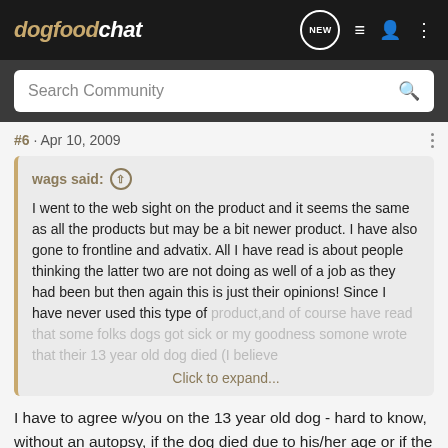dogfoodchat
Search Community
#6 · Apr 10, 2009
wags said: ↑ I went to the web sight on the product and it seems the same as all the products but may be a bit newer product. I have also gone to frontline and advatix. All I have read is about people thinking the latter two are not doing as well of a job as they had been but then again this is just their opinions! Since I have never used this type of product,and of course have read that some folks dogs got sick or my goodness somone wrote that their 13 year old dog died (I believe Click to expand...
I have to agree w/you on the 13 year old dog - hard to know, without an autopsy, if the dog died due to his/her age or if the product affected them. Animals can be allergic to different